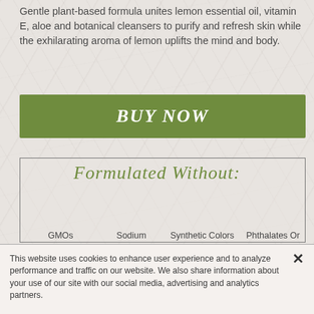Gentle plant-based formula unites lemon essential oil, vitamin E, aloe and botanical cleansers to purify and refresh skin while the exhilarating aroma of lemon uplifts the mind and body.
BUY NOW
Formulated Without:
GMOs
Sodium Lauryl/Laureth Sulfate
Synthetic Colors Or Fragrances
Phthalates Or Animal Testing
This website uses cookies to enhance user experience and to analyze performance and traffic on our website. We also share information about your use of our site with our social media, advertising and analytics partners.